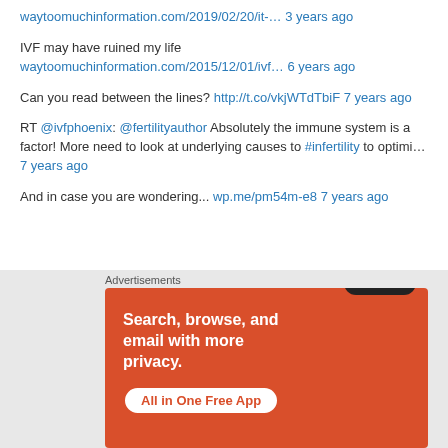waytoomuchinformation.com/2019/02/20/it-… 3 years ago
IVF may have ruined my life
waytoomuchinformation.com/2015/12/01/ivf… 6 years ago
Can you read between the lines? http://t.co/vkjWTdTbiF 7 years ago
RT @ivfphoenix: @fertilityauthor Absolutely the immune system is a factor! More need to look at underlying causes to #infertility to optimi… 7 years ago
And in case you are wondering... wp.me/pm54m-e8 7 years ago
[Figure (other): DuckDuckGo advertisement: Search, browse, and email with more privacy. All in One Free App. Shows a dark phone with DuckDuckGo logo.]